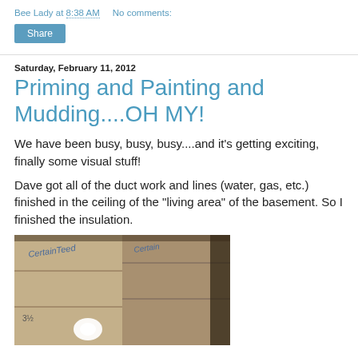Bee Lady at 8:38 AM   No comments:
Share
Saturday, February 11, 2012
Priming and Painting and Mudding....OH MY!
We have been busy, busy, busy....and it's getting exciting, finally some visual stuff!
Dave got all of the duct work and lines (water, gas, etc.) finished in the ceiling of the "living area" of the basement. So I finished the insulation.
[Figure (photo): Photo of CertainTeed insulation bags installed in a ceiling]